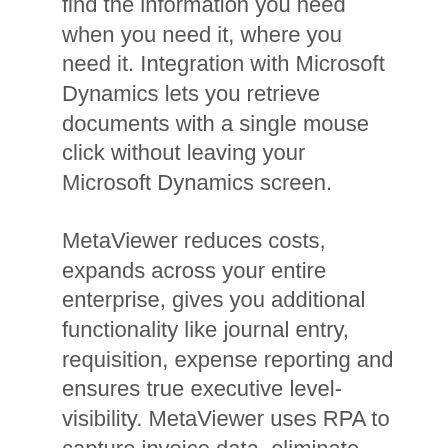find the information you need when you need it, where you need it. Integration with Microsoft Dynamics lets you retrieve documents with a single mouse click without leaving your Microsoft Dynamics screen.
MetaViewer reduces costs, expands across your entire enterprise, gives you additional functionality like journal entry, requisition, expense reporting and ensures true executive level-visibility. MetaViewer uses RPA to capture invoice data, eliminate tedious, manual processes, and make data more readily available for better expense management.
MetaViewer also features Touchless Invoice Processing. This functionality processes documents and routes them through workflow steps – based on pre-determined rules – without human intervention. Automated workflows and RPA functionality allows your employees to do what they do best – take on important, high-value projects with the utmost